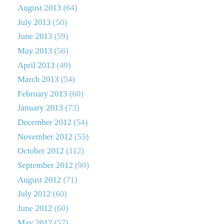August 2013 (64)
July 2013 (50)
June 2013 (59)
May 2013 (56)
April 2013 (49)
March 2013 (54)
February 2013 (60)
January 2013 (73)
December 2012 (54)
November 2012 (55)
October 2012 (112)
September 2012 (90)
August 2012 (71)
July 2012 (60)
June 2012 (60)
May 2012 (57)
April 2012 (62)
March 2012 (51)
February 2012 (47)
January 2012 (51)